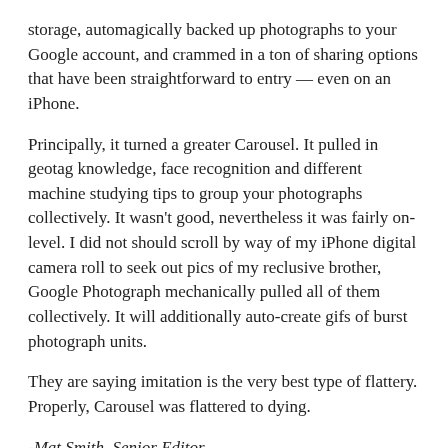storage, automagically backed up photographs to your Google account, and crammed in a ton of sharing options that have been straightforward to entry — even on an iPhone.
Principally, it turned a greater Carousel. It pulled in geotag knowledge, face recognition and different machine studying tips to group your photographs collectively. It wasn't good, nevertheless it was fairly on-level. I did not should scroll by way of my iPhone digital camera roll to seek out pics of my reclusive brother, Google Photograph mechanically pulled all of them collectively. It will additionally auto-create gifs of burst photograph units.
They are saying imitation is the very best type of flattery. Properly, Carousel was flattered to dying.
-Mat Smith, Senior Editor
On this article: apple, carousel, dropbox, editorial, gear, glitch, google, googlereader, hopstop, web, microsoft, cellular, private computing, personalcomputing, providers, slack,